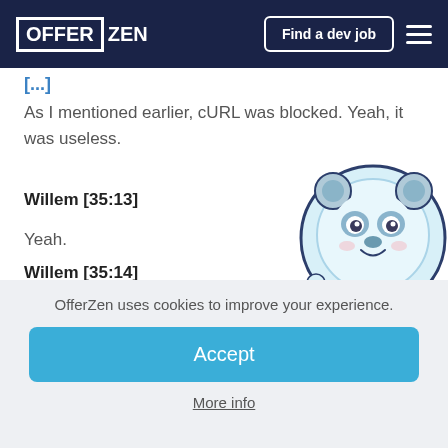OFFER ZEN | Find a dev job
[partial header text in blue]
As I mentioned earlier, cURL was blocked. Yeah, it was useless.
Willem [35:13]
Yeah.
Willem [35:14]
[Figure (illustration): Cartoon panda character wearing an astronaut helmet, light blue tones, waving]
OfferZen uses cookies to improve your experience.
Accept
More info